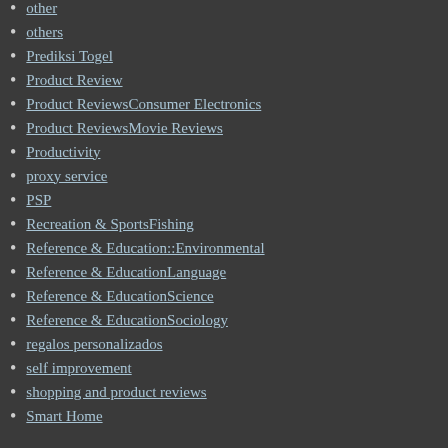other
others
Prediksi Togel
Product Review
Product ReviewsConsumer Electronics
Product ReviewsMovie Reviews
Productivity
proxy service
PSP
Recreation & SportsFishing
Reference & Education::Environmental
Reference & EducationLanguage
Reference & EducationScience
Reference & EducationSociology
regalos personalizados
self improvement
shopping and product reviews
Smart Home